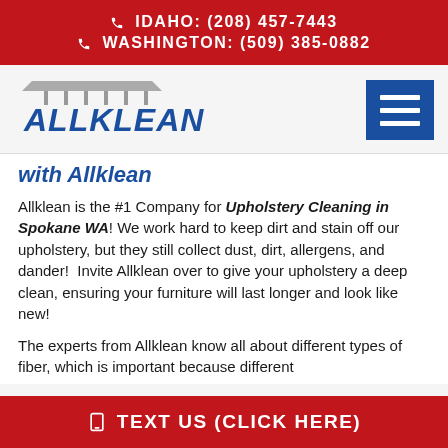IDAHO: (208) 457-7443
WASHINGTON: (509) 385-0882
[Figure (logo): Allklean logo with broom illustration and blue bold text]
with Allklean
Allklean is the #1 Company for Upholstery Cleaning in Spokane WA! We work hard to keep dirt and stain off our upholstery, but they still collect dust, dirt, allergens, and dander!  Invite Allklean over to give your upholstery a deep clean, ensuring your furniture will last longer and look like new!
The experts from Allklean know all about different types of fiber, which is important because different
TEXT US (CLICK HERE)